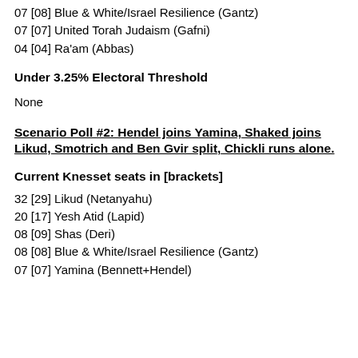07 [08] Blue & White/Israel Resilience (Gantz)
07 [07] United Torah Judaism (Gafni)
04 [04] Ra'am (Abbas)
Under 3.25% Electoral Threshold
None
Scenario Poll #2: Hendel joins Yamina, Shaked joins Likud, Smotrich and Ben Gvir split, Chickli runs alone.
Current Knesset seats in [brackets]
32 [29] Likud (Netanyahu)
20 [17] Yesh Atid (Lapid)
08 [09] Shas (Deri)
08 [08] Blue & White/Israel Resilience (Gantz)
07 [07] Yamina (Bennett+Hendel)